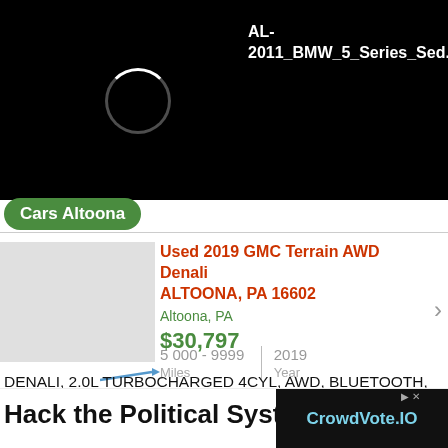[Figure (screenshot): Black header area with loading circle spinner and filename text 'AL-2011_BMW_5_Series_Sed...' in white on black background]
AL-2011_BMW_5_Series_Sed...
Cars Altoona
Used 2019 GMC Terrain AWD Denali ALTOONA, PA 16602
Altoona, PA
$30,797
5 000 - 9999 Miles | 2019 Year
DENALI, 2.0L TURBOCHARGED 4CYL, AWD, BLUETOOTH, NAVIGATION, REMOTE START, PANORAMIC MOONROOF, REAR VIEW CAMERA, REVERSE SENSING SYSTEM, BLIND ROSS...
[Figure (screenshot): Advertisement banner: 'Hack the Political System.' on left, CrowdVote.IO logo on black background on right]